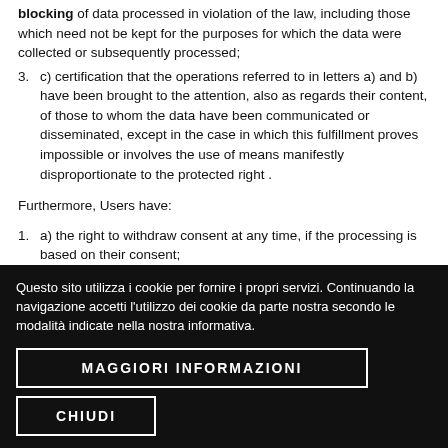blocking of data processed in violation of the law, including those which need not be kept for the purposes for which the data were collected or subsequently processed;
3. c) certification that the operations referred to in letters a) and b) have been brought to the attention, also as regards their content, of those to whom the data have been communicated or disseminated, except in the case in which this fulfillment proves impossible or involves the use of means manifestly disproportionate to the protected right .
Furthermore, Users have:
1. a) the right to withdraw consent at any time, if the processing is based on their consent;
Questo sito utilizza i cookie per fornire i propri servizi. Continuando la navigazione accetti l'utilizzo dei cookie da parte nostra secondo le modalità indicate nella nostra informativa.
MAGGIORI INFORMAZIONI
CHIUDI